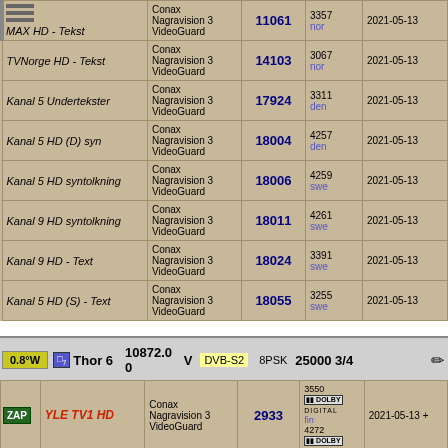| Name | Encryption | SID | PID / Lang | Date |
| --- | --- | --- | --- | --- |
| MAX HD - Tekst | Conax
Nagravision 3
VideoGuard | 11061 | 3357
nor | 2021-05-13 |
| TVNorge HD - Tekst | Conax
Nagravision 3
VideoGuard | 14103 | 3067
nor | 2021-05-13 |
| Kanal 5 Undertekster | Conax
Nagravision 3
VideoGuard | 17924 | 3311
den | 2021-05-13 |
| Kanal 5 HD (D) syn | Conax
Nagravision 3
VideoGuard | 18004 | 4257
den | 2021-05-13 |
| Kanal 5 HD syntolkning | Conax
Nagravision 3
VideoGuard | 18006 | 4259
swe | 2021-05-13 |
| Kanal 9 HD syntolkning | Conax
Nagravision 3
VideoGuard | 18011 | 4261
swe | 2021-05-13 |
| Kanal 9 HD - Text | Conax
Nagravision 3
VideoGuard | 18024 | 3391
swe | 2021-05-13 |
| Kanal 5 HD (S) - Text | Conax
Nagravision 3
VideoGuard | 18055 | 3255
swe | 2021-05-13 |
0.8°W  Thor 6  10872.00  V  DVB-S2  8PSK  25000 3/4
|  | Name | Encryption | SID | PID / Lang | Date |
| --- | --- | --- | --- | --- | --- |
| ZAP | YLE TV1 HD | Conax
Nagravision 3
VideoGuard | 2933 | 3550 [Dolby Digital]
fin
4272 [Dolby] | 2021-05-13 + |